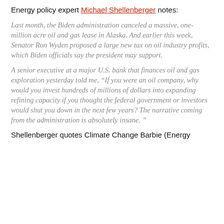Energy policy expert Michael Shellenberger notes:
Last month, the Biden administration canceled a massive, one-million acre oil and gas lease in Alaska. And earlier this week, Senator Ron Wyden proposed a large new tax on oil industry profits, which Biden officials say the president may support.
A senior executive at a major U.S. bank that finances oil and gas exploration yesterday told me, “If you were an oil company, why would you invest hundreds of millions of dollars into expanding refining capacity if you thought the federal government or investors would shut you down in the next few years? The narrative coming from the administration is absolutely insane. ”
Shellenberger quotes Climate Change Barbie (Energy